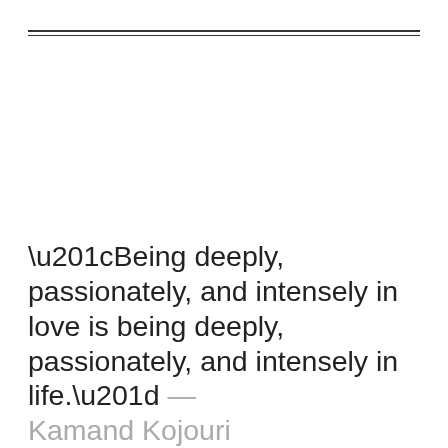“Being deeply, passionately, and intensely in love is being deeply, passionately, and intensely in life.” — Kamand Kojouri